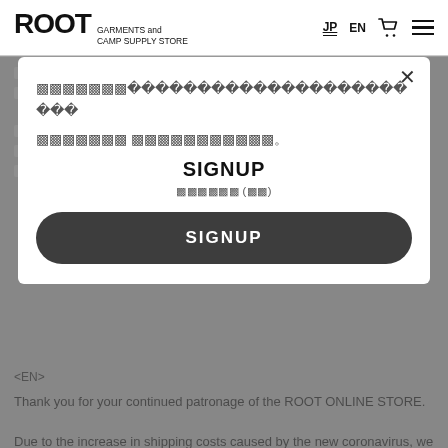ROOT GARMENTS and CAMP SUPPLY STORE | JP EN
[Figure (screenshot): Modal signup popup on ROOT GARMENTS and CAMP SUPPLY STORE website showing SIGNUP title, Japanese placeholder text, and a dark SIGNUP button]
<EN>
Thank you for your continued patronage of the ROOT ONLINE STORE.
Due to the increase in shipping costs caused by the new coronavirus, we have decided to revise our overseas shipping rates.